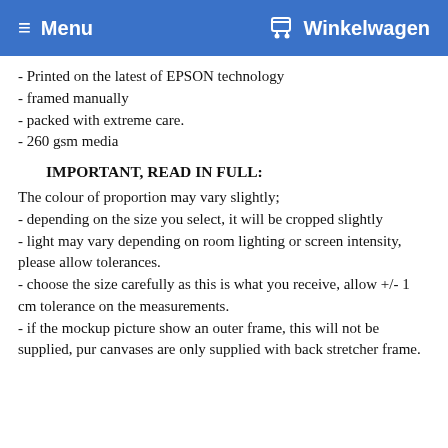≡ Menu   🛒 Winkelwagen
- Printed on the latest of EPSON technology
- framed manually
- packed with extreme care.
- 260 gsm media
IMPORTANT, READ IN FULL:
The colour of proportion may vary slightly; - depending on the size you select, it will be cropped slightly - light may vary depending on room lighting or screen intensity, please allow tolerances. - choose the size carefully as this is what you receive, allow +/- 1 cm tolerance on the measurements. - if the mockup picture show an outer frame, this will not be supplied, pur canvases are only supplied with back stretcher frame.